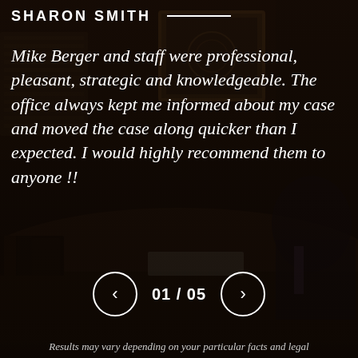[Figure (photo): Dark law office background with a wooden round desk, books, and a man in a suit visible, overlaid with semi-transparent dark tint]
SHARON SMITH
Mike Berger and staff were professional, pleasant, strategic and knowledgeable. The office always kept me informed about my case and moved the case along quicker than I expected. I would highly recommend them to anyone !!
01 / 05
Results may vary depending on your particular facts and legal